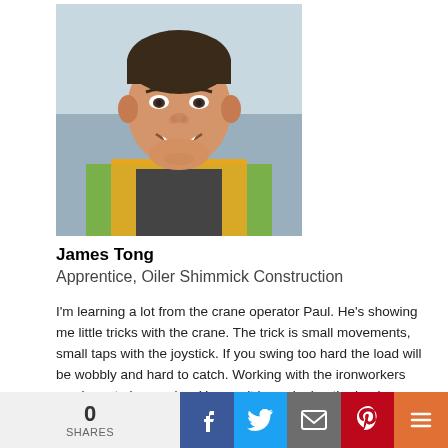[Figure (photo): Headshot photo of James Tong, a young man wearing an orange safety vest, smiling at a construction site]
James Tong
Apprentice, Oiler Shimmick Construction
I'm learning a lot from the crane operator Paul. He's showing me little tricks with the crane. The trick is small movements, small taps with the joystick. If you swing too hard the load will be wobbly and hard to catch. Working with the ironworkers you have to be precise. You can't be swinging the hook around back and forth. So Paul is teaching me just to go slow and match their pace. It's a little hard with the big crane. It's small taps on the joystick or the hook will start swinging. I'm getting it.
I'm new to being an oiler. You get to learn the parts of the crane, how it works, and what to look for around your surroundings to make sure the ground around the crane is secure.
0 SHARES | Facebook | Twitter | Email | Pinterest | More